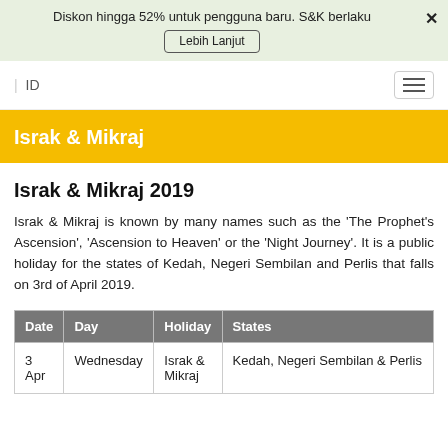Diskon hingga 52% untuk pengguna baru. S&K berlaku
Lebih Lanjut
| ID
Israk & Mikraj
Israk & Mikraj 2019
Israk & Mikraj is known by many names such as the 'The Prophet's Ascension', 'Ascension to Heaven' or the 'Night Journey'. It is a public holiday for the states of Kedah, Negeri Sembilan and Perlis that falls on 3rd of April 2019.
| Date | Day | Holiday | States |
| --- | --- | --- | --- |
| 3 Apr | Wednesday | Israk & Mikraj | Kedah, Negeri Sembilan & Perlis |